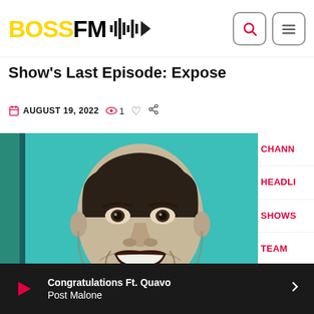BOSSFM [logo with waveform and play icon] | search | menu
Show's Last Episode: Expose
AUGUST 19, 2022  👁 1  ♡  share
[Figure (photo): Black and white close-up photo of a smiling man against a teal/blue background]
CHANN
HEADLI
SHOWS
TEAM
Congratulations Ft. Quavo
Post Malone